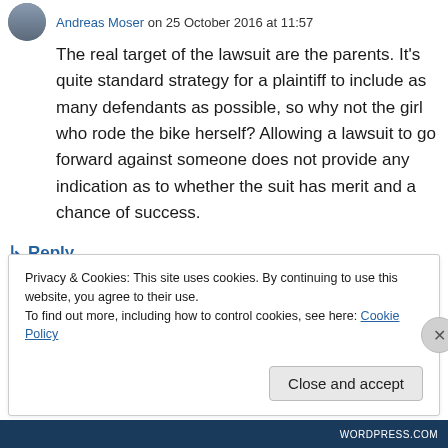Andreas Moser on 25 October 2016 at 11:57
The real target of the lawsuit are the parents. It’s quite standard strategy for a plaintiff to include as many defendants as possible, so why not the girl who rode the bike herself? Allowing a lawsuit to go forward against someone does not provide any indication as to whether the suit has merit and a chance of success.
↳ Reply
Privacy & Cookies: This site uses cookies. By continuing to use this website, you agree to their use.
To find out more, including how to control cookies, see here: Cookie Policy
Close and accept